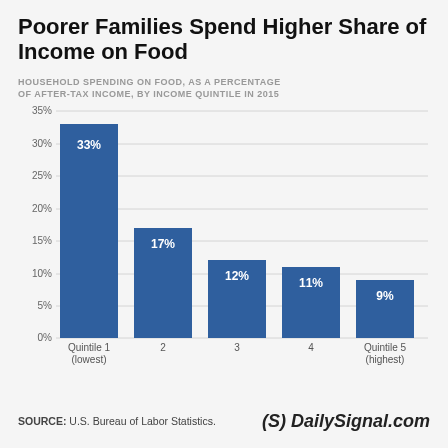Poorer Families Spend Higher Share of Income on Food
[Figure (bar-chart): HOUSEHOLD SPENDING ON FOOD, AS A PERCENTAGE OF AFTER-TAX INCOME, BY INCOME QUINTILE IN 2015]
SOURCE: U.S. Bureau of Labor Statistics.
(S) DailySignal.com